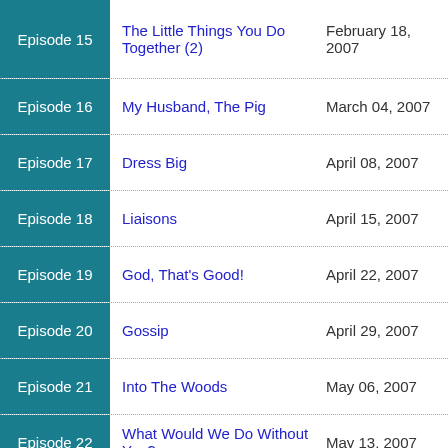| Episode | Title | Date |
| --- | --- | --- |
| Episode 15 | The Little Things You Do Together (2) | February 18, 2007 |
| Episode 16 | My Husband, The Pig | March 04, 2007 |
| Episode 17 | Dress Big | April 08, 2007 |
| Episode 18 | Liaisons | April 15, 2007 |
| Episode 19 | God, That's Good! | April 22, 2007 |
| Episode 20 | Gossip | April 29, 2007 |
| Episode 21 | Into The Woods | May 06, 2007 |
| Episode 22 | What Would We Do Without You? | May 13, 2007 |